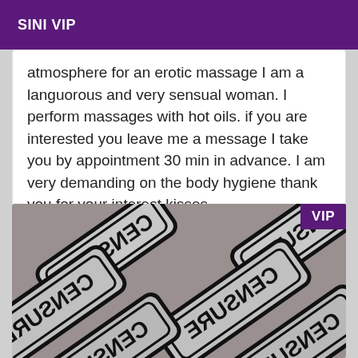SINI VIP
atmosphere for an erotic massage I am a languorous and very sensual woman. I perform massages with hot oils. if you are interested you leave me a message I take you by appointment 30 min in advance. I am very demanding on the body hygiene thank you for your interest kisses ...
[Figure (photo): Censored image showing multiple overlapping 'CENSURE' stamp tiles on a grey background, with a purple VIP badge in the top right corner.]